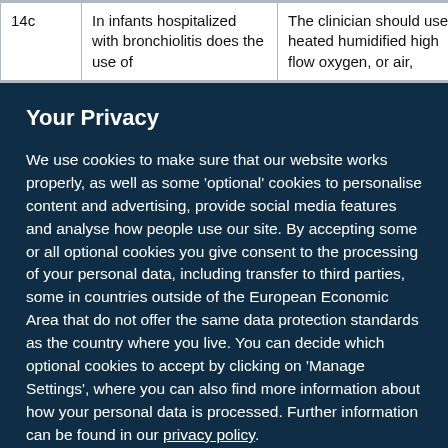| 14c | In infants hospitalized with bronchiolitis does the use of | The clinician should use heated humidified high flow oxygen, or air, | PREDICT [11] |
Your Privacy
We use cookies to make sure that our website works properly, as well as some 'optional' cookies to personalise content and advertising, provide social media features and analyse how people use our site. By accepting some or all optional cookies you give consent to the processing of your personal data, including transfer to third parties, some in countries outside of the European Economic Area that do not offer the same data protection standards as the country where you live. You can decide which optional cookies to accept by clicking on 'Manage Settings', where you can also find more information about how your personal data is processed. Further information can be found in our privacy policy.
Accept all cookies
Manage preferences